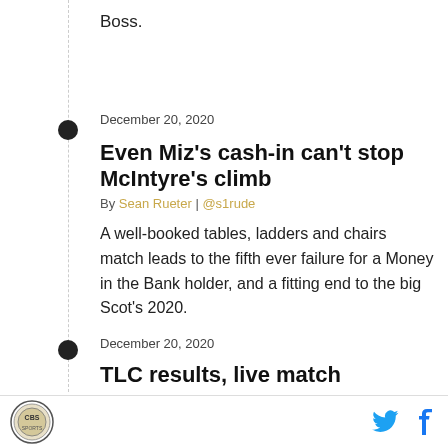Boss.
December 20, 2020
Even Miz's cash-in can't stop McIntyre's climb
By Sean Rueter | @s1rude
A well-booked tables, ladders and chairs match leads to the fifth ever failure for a Money in the Bank holder, and a fitting end to the big Scot's 2020.
December 20, 2020
TLC results, live match coverage
By Claire Elizabeth | @Rev_Claire
Get complete results and live coverage of every